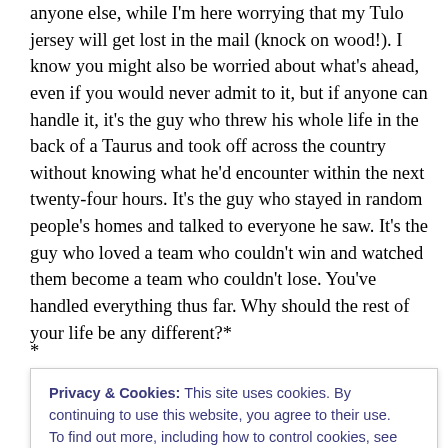anyone else, while I'm here worrying that my Tulo jersey will get lost in the mail (knock on wood!). I know you might also be worried about what's ahead, even if you would never admit to it, but if anyone can handle it, it's the guy who threw his whole life in the back of a Taurus and took off across the country without knowing what he'd encounter within the next twenty-four hours. It's the guy who stayed in random people's homes and talked to everyone he saw. It's the guy who loved a team who couldn't win and watched them become a team who couldn't lose. You've handled everything thus far. Why should the rest of your life be any different?*
*
*
Privacy & Cookies: This site uses cookies. By continuing to use this website, you agree to their use. To find out more, including how to control cookies, see here: Cookie Policy
Colorado in a few months and if you need anything, I'll be